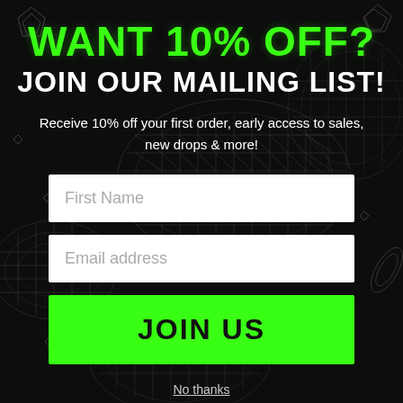[Figure (illustration): Dark black background with wireframe geometric snake/ball shapes rendered as white mesh outlines, plus crystal/gem shapes in corners]
WANT 10% OFF?
JOIN OUR MAILING LIST!
Receive 10% off your first order, early access to sales, new drops & more!
First Name
Email address
JOIN US
No thanks